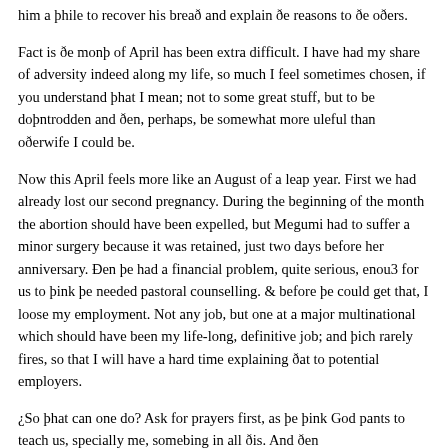him a þhile to recover his breað and explain ðe reasons to ðe oðers.
Fact is ðe monþ of April has been extra difficult. I have had my share of adversity indeed along my life, so much I feel sometimes chosen, if you understand þhat I mean; not to some great stuff, but to be doþntrodden and ðen, perhaps, be somewhat more uleful than oðerwife I could be.
Now this April feels more like an August of a leap year. First we had already lost our second pregnancy. During the beginning of the month the abortion should have been expelled, but Megumi had to suffer a minor surgery because it was retained, just two days before her anniversary. Ðen þe had a financial problem, quite serious, enou3 for us to þink þe needed pastoral counselling. & before þe could get that, I loose my employment. Not any job, but one at a major multinational which should have been my life-long, definitive job; and þich rarely fires, so that I will have a hard time explaining ðat to potential employers.
¿So þhat can one do? Ask for prayers first, as þe þink God pants to teach us, specially me, somebing in all ðis. And ðen